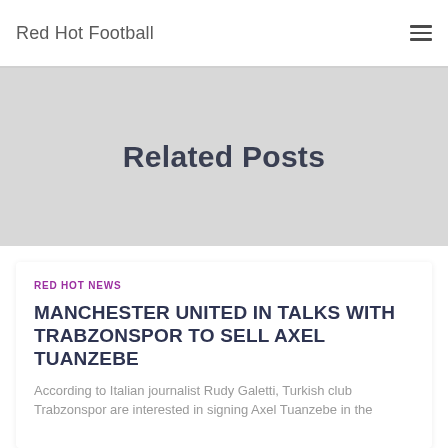Red Hot Football
Related Posts
RED HOT NEWS
MANCHESTER UNITED IN TALKS WITH TRABZONSPOR TO SELL AXEL TUANZEBE
According to Italian journalist Rudy Galetti, Turkish club Trabzonspor are interested in signing Axel Tuanzebe in the